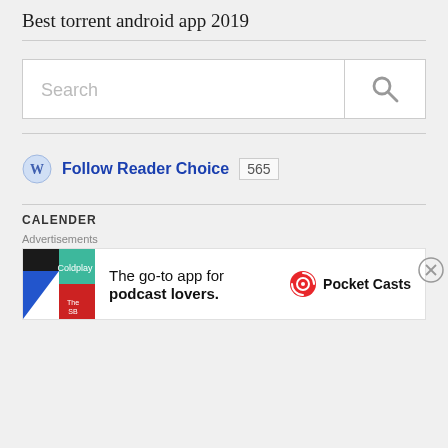Best torrent android app 2019
[Figure (other): Search input field with search icon button on the right]
[Figure (other): WordPress follow button with Follow Reader Choice link and 565 follower count badge]
CALENDER
[Figure (other): Pocket Casts advertisement banner: The go-to app for podcast lovers.]